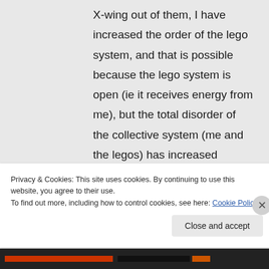X-wing out of them, I have increased the order of the lego system, and that is possible because the lego system is open (ie it receives energy from me), but the total disorder of the collective system (me and the legos) has increased because the entropy gain from the energy that I spent
Privacy & Cookies: This site uses cookies. By continuing to use this website, you agree to their use.
To find out more, including how to control cookies, see here: Cookie Policy